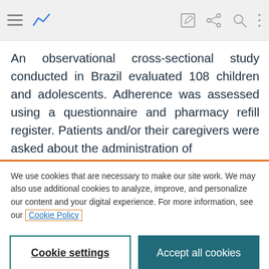Toolbar with navigation icons
An observational cross-sectional study conducted in Brazil evaluated 108 children and adolescents. Adherence was assessed using a questionnaire and pharmacy refill register. Patients and/or their caregivers were asked about the administration of
We use cookies that are necessary to make our site work. We may also use additional cookies to analyze, improve, and personalize our content and your digital experience. For more information, see our Cookie Policy
Cookie settings
Accept all cookies